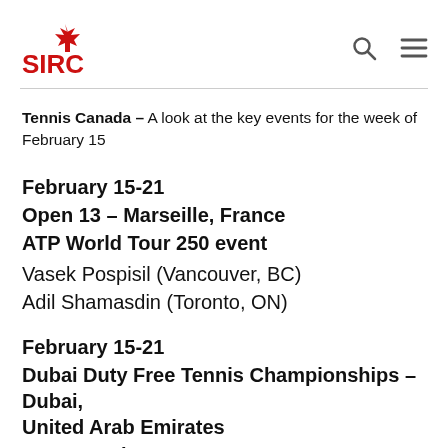SIRC
Tennis Canada – A look at the key events for the week of February 15
February 15-21
Open 13 – Marseille, France
ATP World Tour 250 event
Vasek Pospisil (Vancouver, BC)
Adil Shamasdin (Toronto, ON)
February 15-21
Dubai Duty Free Tennis Championships – Dubai, United Arab Emirates
WTA Premier event